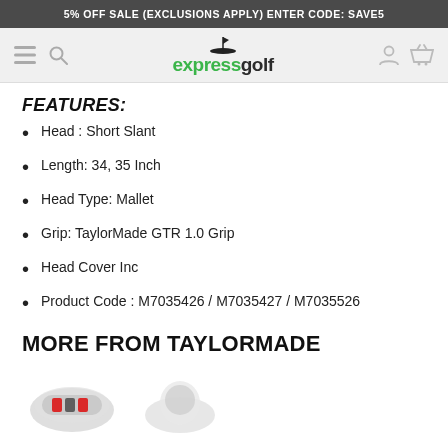5% OFF SALE (EXCLUSIONS APPLY) ENTER CODE: SAVE5
[Figure (logo): Express Golf website navigation bar with hamburger menu, search icon, Express Golf logo (golf flag icon, green 'express' and dark 'golf' text), user icon, and shopping basket icon]
FEATURES:
Head : Short Slant
Length:  34, 35 Inch
Head Type: Mallet
Grip: TaylorMade GTR 1.0 Grip
Head Cover Inc
Product Code : M7035426 / M7035427 / M7035526
MORE FROM TAYLORMADE
[Figure (photo): Partial product images at the bottom of the page showing two TaylorMade product thumbnails]